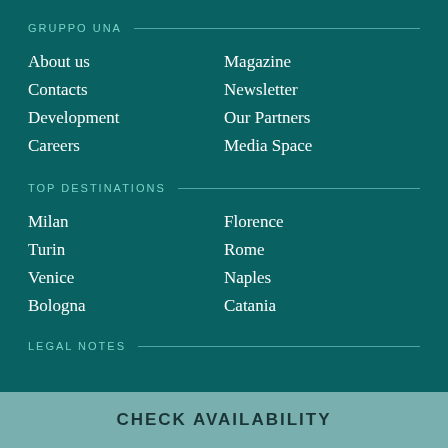GRUPPO UNA
About us
Contacts
Development
Careers
Magazine
Newsletter
Our Partners
Media Space
TOP DESTINATIONS
Milan
Turin
Venice
Bologna
Florence
Rome
Naples
Catania
LEGAL NOTES
CHECK AVAILABILITY